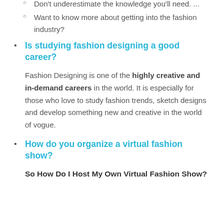Don't underestimate the knowledge you'll need. ...
Want to know more about getting into the fashion industry?
Is studying fashion designing a good career?
Fashion Designing is one of the highly creative and in-demand careers in the world. It is especially for those who love to study fashion trends, sketch designs and develop something new and creative in the world of vogue.
How do you organize a virtual fashion show?
So How Do I Host My Own Virtual Fashion Show?